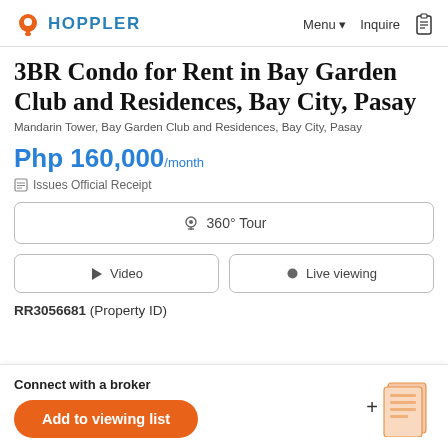HOPPLER  Menu ▾  Inquire
3BR Condo for Rent in Bay Garden Club and Residences, Bay City, Pasay
Mandarin Tower, Bay Garden Club and Residences, Bay City, Pasay
Php 160,000/month
Issues Official Receipt
360° Tour
Video
Live viewing
RR3056681 (Property ID)
Connect with a broker
Add to viewing list